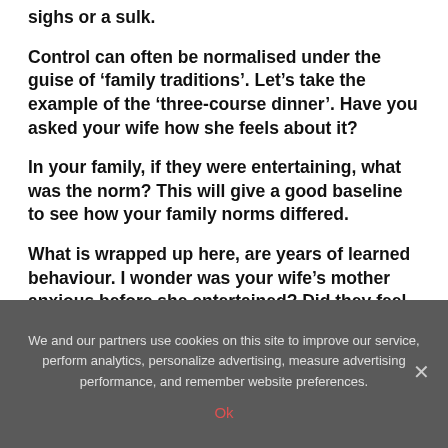sighs or a sulk.
Control can often be normalised under the guise of ‘family traditions’. Let’s take the example of the ‘three-course dinner’. Have you asked your wife how she feels about it?
In your family, if they were entertaining, what was the norm? This will give a good baseline to see how your family norms differed.
What is wrapped up here, are years of learned behaviour. I wonder was your wife’s mother anxious before she entertained? Did they feel
We and our partners use cookies on this site to improve our service, perform analytics, personalize advertising, measure advertising performance, and remember website preferences.
Ok